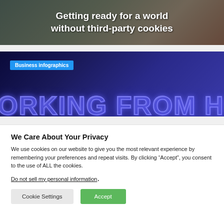[Figure (screenshot): Banner image with dark overlay showing title text 'Getting ready for a world without third-party cookies' in white bold text on a dark background with illustrated character]
Getting ready for a world without third-party cookies
[Figure (screenshot): Dark blue background banner with 'Business infographics' blue tag and large stylized glowing text 'ORKING FROM HOM' (partial, cropped)]
Business infographics
We Care About Your Privacy
We use cookies on our website to give you the most relevant experience by remembering your preferences and repeat visits. By clicking “Accept”, you consent to the use of ALL the cookies.
Do not sell my personal information.